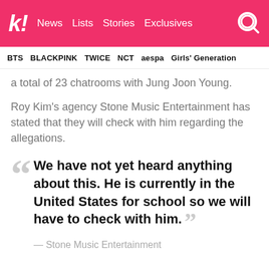k! News  Lists  Stories  Exclusives
BTS  BLACKPINK  TWICE  NCT  aespa  Girls' Generation
a total of 23 chatrooms with Jung Joon Young.
Roy Kim's agency Stone Music Entertainment has stated that they will check with him regarding the allegations.
We have not yet heard anything about this. He is currently in the United States for school so we will have to check with him. — Stone Music Entertainment